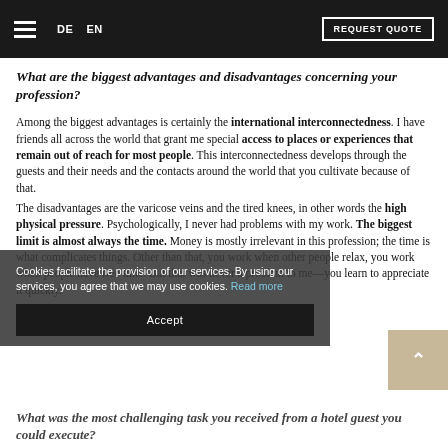DE  EN  REQUEST QUOTE
What are the biggest advantages and disadvantages concerning your profession?
Among the biggest advantages is certainly the international interconnectedness. I have friends all across the world that grant me special access to places or experiences that remain out of reach for most people. This interconnectedness develops through the guests and their needs and the contacts around the world that you cultivate because of that.
The disadvantages are the varicose veins and the tired knees, in other words the high physical pressure. Psychologically, I never had problems with my work. The biggest limit is almost always the time. Money is mostly irrelevant in this profession; the time is what complicates things. Other than that, you work when other people relax, you work when people have free time. But that was never a problem to me—you learn to appreciate it quickly.
Cookies facilitate the provision of our services. By using our services, you agree that we may use cookies. Read more
Accept
What was the most challenging task you received from a hotel guest you could execute?